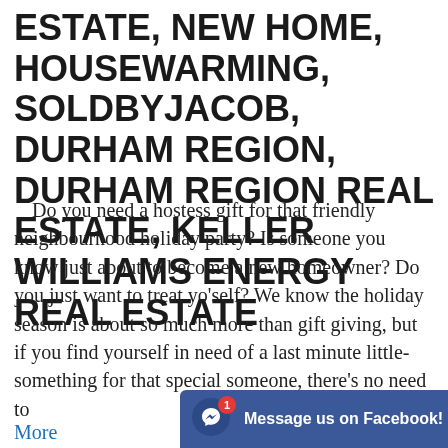ESTATE, NEW HOME, HOUSEWARMING, SOLDBYJACOB, DURHAM REGION, DURHAM REGION REAL ESTATE, KELLER WILLIAMS ENERGY REAL ESTATE
Do you need a hostess gift for that friendly neighbourhood holiday party? Is someone you know just about to become a new homeowner? Do you just want to treat yo'self? We know the holiday season is about so much more than gift giving, but if you find yourself in need of a last minute little-something for that special someone, there's no need to...
More
[Figure (screenshot): Facebook Messenger chat widget overlay with notification badge showing '1' and text 'Message us on Facebook!']